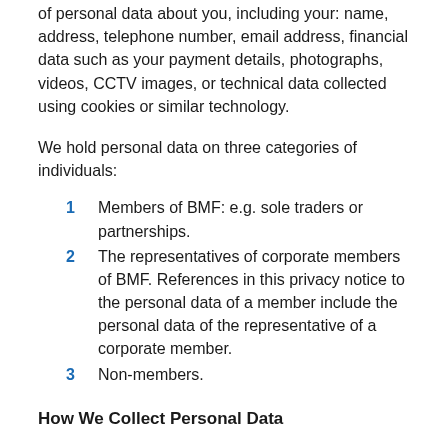of personal data about you, including your: name, address, telephone number, email address, financial data such as your payment details, photographs, videos, CCTV images, or technical data collected using cookies or similar technology.
We hold personal data on three categories of individuals:
1  Members of BMF: e.g. sole traders or partnerships.
2  The representatives of corporate members of BMF. References in this privacy notice to the personal data of a member include the personal data of the representative of a corporate member.
3  Non-members.
How We Collect Personal Data